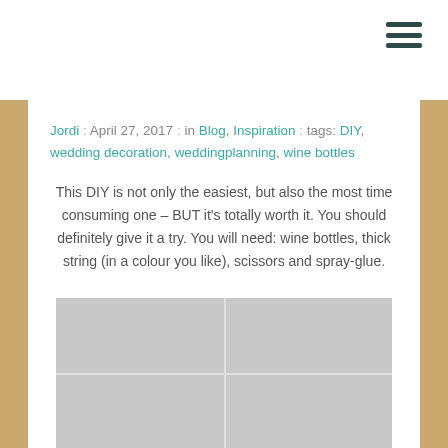☰ (hamburger menu icon)
Jordi  :  April 27, 2017  :  in Blog, Inspiration  :  tags: DIY, wedding decoration, weddingplanning, wine bottles
This DIY is not only the easiest, but also the most time consuming one – BUT it's totally worth it. You should definitely give it a try. You will need: wine bottles, thick string (in a colour you like), scissors and spray-glue.
[Figure (photo): Grey tiled background photo, showing a grid of large concrete or stone tiles]